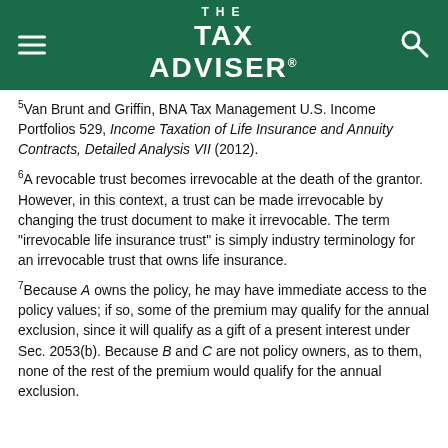THE TAX ADVISER
5Van Brunt and Griffin, BNA Tax Management U.S. Income Portfolios 529, Income Taxation of Life Insurance and Annuity Contracts, Detailed Analysis VII (2012).
6A revocable trust becomes irrevocable at the death of the grantor. However, in this context, a trust can be made irrevocable by changing the trust document to make it irrevocable. The term "irrevocable life insurance trust" is simply industry terminology for an irrevocable trust that owns life insurance.
7Because A owns the policy, he may have immediate access to the policy values; if so, some of the premium may qualify for the annual exclusion, since it will qualify as a gift of a present interest under Sec. 2053(b). Because B and C are not policy owners, as to them, none of the rest of the premium would qualify for the annual exclusion.